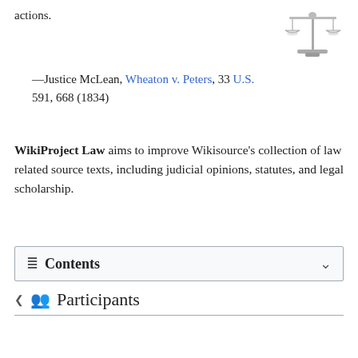actions.
[Figure (illustration): Scale of justice / balance scale icon, silver/gray colored]
—Justice McLean, Wheaton v. Peters, 33 U.S. 591, 668 (1834)
WikiProject Law aims to improve Wikisource's collection of law related source texts, including judicial opinions, statutes, and legal scholarship.
Contents
Participants
To-do
Templates